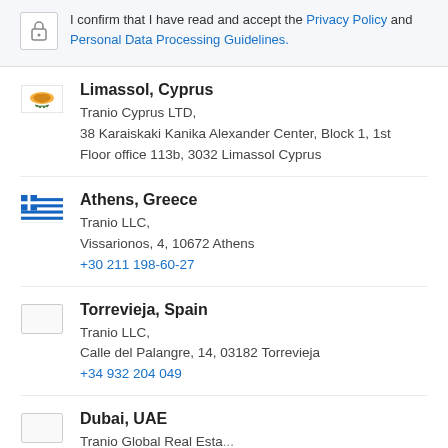I confirm that I have read and accept the Privacy Policy and Personal Data Processing Guidelines.
Limassol, Cyprus
Tranio Cyprus LTD,
38 Karaiskaki Kanika Alexander Center, Block 1, 1st Floor office 113b, 3032 Limassol Cyprus
Athens, Greece
Tranio LLC,
Vissarionos, 4, 10672 Athens
+30 211 198-60-27
Torrevieja, Spain
Tranio LLC,
Calle del Palangre, 14, 03182 Torrevieja
+34 932 204 049
Dubai, UAE
Tranio Global Real Estate